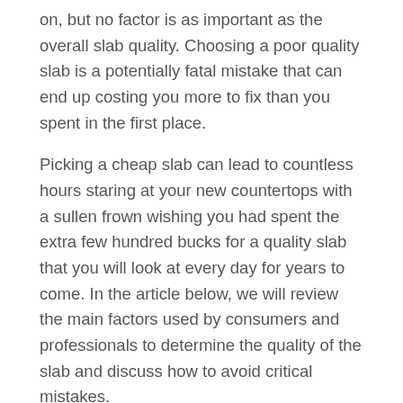on, but no factor is as important as the overall slab quality. Choosing a poor quality slab is a potentially fatal mistake that can end up costing you more to fix than you spent in the first place.
Picking a cheap slab can lead to countless hours staring at your new countertops with a sullen frown wishing you had spent the extra few hundred bucks for a quality slab that you will look at every day for years to come. In the article below, we will review the main factors used by consumers and professionals to determine the quality of the slab and discuss how to avoid critical mistakes.
When looking at samples and slabs for your new counters, here are the key factors to determine the quality of the quartz slab: